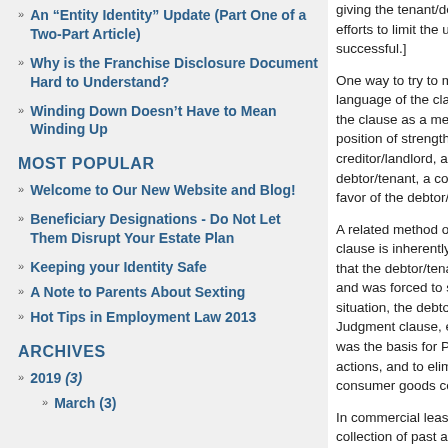An “Entity Identity” Update (Part One of a Two-Part Article)
Why is the Franchise Disclosure Document Hard to Understand?
Winding Down Doesn’t Have to Mean Winding Up
MOST POPULAR
Welcome to Our New Website and Blog!
Beneficiary Designations - Do Not Let Them Disrupt Your Estate Plan
Keeping your Identity Safe
A Note to Parents About Sexting
Hot Tips in Employment Law 2013
ARCHIVES
2019 (3)
March (3)
giving the tenant/debtor t efforts to limit the use an successful.]
One way to try to minimiz language of the clause. A the clause as a means to position of strength, and s creditor/landlord, and sin debtor/tenant, a court wil favor of the debtor/tenant
A related method of trying clause is inherently unfai that the debtor/tenant wa and was forced to simply situation, the debtor/tena Judgment clause, either t was the basis for Pennsy actions, and to eliminate consumer goods contract
In commercial lease case collection of past and fut for defaulting tenants wil take possession of the pr